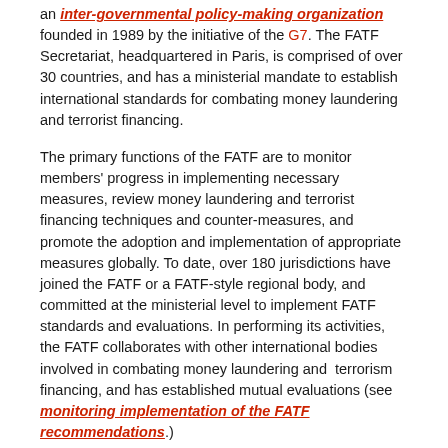an inter-governmental policy-making organization founded in 1989 by the initiative of the G7. The FATF Secretariat, headquartered in Paris, is comprised of over 30 countries, and has a ministerial mandate to establish international standards for combating money laundering and terrorist financing.
The primary functions of the FATF are to monitor members' progress in implementing necessary measures, review money laundering and terrorist financing techniques and counter-measures, and promote the adoption and implementation of appropriate measures globally. To date, over 180 jurisdictions have joined the FATF or a FATF-style regional body, and committed at the ministerial level to implement FATF standards and evaluations. In performing its activities, the FATF collaborates with other international bodies involved in combating money laundering and terrorism financing, and has established mutual evaluations (see monitoring implementation of the FATF recommendations.)
The FATF does not have a tightly defined constitution or an unlimited life span, and thus periodically reviews its mission. The current mandate of the FATF (for 2004-2012) was subject to a mid-term review and was approved and revised at a ministerial meeting in April 2008 (see FATF standards.)